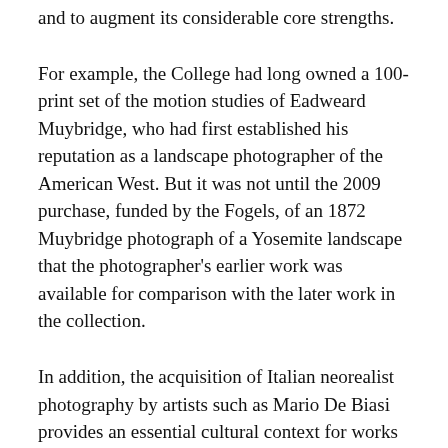and to augment its considerable core strengths.
For example, the College had long owned a 100-print set of the motion studies of Eadweard Muybridge, who had first established his reputation as a landscape photographer of the American West. But it was not until the 2009 purchase, funded by the Fogels, of an 1872 Muybridge photograph of a Yosemite landscape that the photographer's earlier work was available for comparison with the later work in the collection.
In addition, the acquisition of Italian neorealist photography by artists such as Mario De Biasi provides an essential cultural context for works in the collection by Robert Frank and Henri Cartier-Bresson. The photograms of Dadaist, Christian Schad, presage Man Ray and Lee Miller by a decade and offer vivid examples of work created from